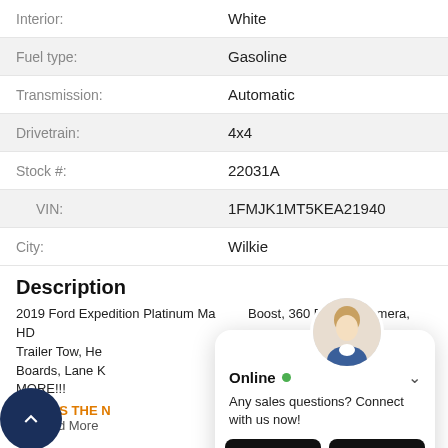| Label | Value |
| --- | --- |
| Interior: | White |
| Fuel type: | Gasoline |
| Transmission: | Automatic |
| Drivetrain: | 4x4 |
| Stock #: | 22031A |
| VIN: | 1FMJK1MT5KEA21940 |
| City: | Wilkie |
Description
2019 Ford Expedition Platinum Max EcoBoost, 360 Degree Camera, HD Trailer Tow, Heated & Cooled Seats, Power Running Boards, Lane Keep Assist, Blind Spot Monitoring, MUCH MORE!!!
USED IS THE N
.....Read More
[Figure (screenshot): Chat popup with agent avatar, Online status, TEXT and CHAT buttons]